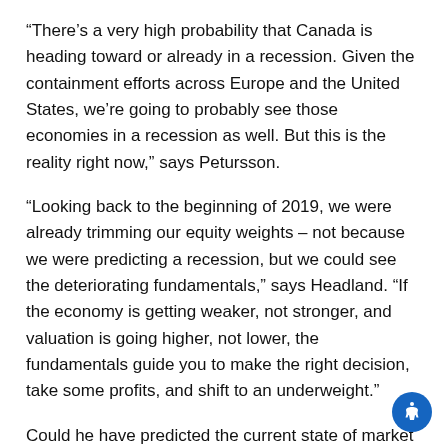“There’s a very high probability that Canada is heading toward or already in a recession. Given the containment efforts across Europe and the United States, we’re going to probably see those economies in a recession as well. But this is the reality right now,” says Petursson.
“Looking back to the beginning of 2019, we were already trimming our equity weights – not because we were predicting a recession, but we could see the deteriorating fundamentals,” says Headland. “If the economy is getting weaker, not stronger, and valuation is going higher, not lower, the fundamentals guide you to make the right decision, take some profits, and shift to an underweight.”
Could he have predicted the current state of market volatility? Petursson says with all financial indicators looking strong –